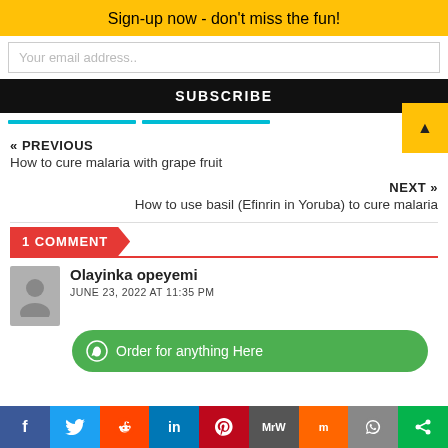Sign-up now - don't miss the fun!
Your email address..
SUBSCRIBE
« PREVIOUS
How to cure malaria with grape fruit
NEXT »
How to use basil (Efinrin in Yoruba) to cure malaria
1 COMMENT
Olayinka opeyemi
JUNE 23, 2022 AT 11:35 PM
Order for anything Here